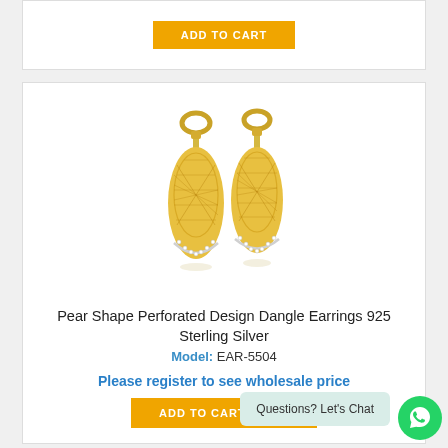[Figure (other): Orange ADD TO CART button at the top of the page inside a white card]
[Figure (photo): Two gold pear-shaped perforated dangle earrings with crystal accents on the lower edge, shown on white background]
Pear Shape Perforated Design Dangle Earrings 925 Sterling Silver
Model: EAR-5504
Please register to see wholesale price
[Figure (other): Orange ADD TO CART button at the bottom of the product card]
Questions? Let's Chat